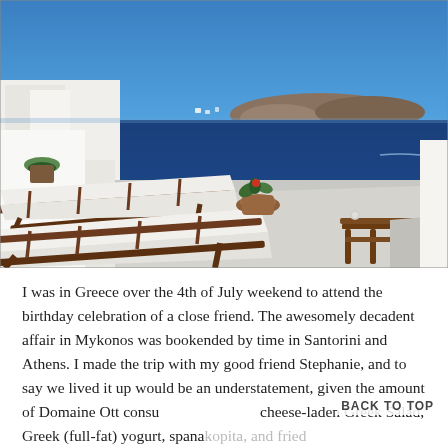[Figure (photo): Photo of a Santorini rooftop terrace with two wooden sun loungers with white cushions and a small wooden side table. In the background is the iconic Santorini caldera, deep blue Aegean Sea, volcanic island (Nea Kameni), and a clear blue sky. White-washed architecture typical of Cycladic style is visible on the left.]
I was in Greece over the 4th of July weekend to attend the birthday celebration of a close friend. The awesomely decadent affair in Mykonos was bookended by time in Santorini and Athens. I made the trip with my good friend Stephanie, and to say we lived it up would be an understatement, given the amount of Domaine Ott consu cheese-laden Greek Salad, Greek (full-fat) yogurt, spanakopita, and fried calamari we pretty much ate around the clock. Here, the highlights
BACK TO TOP